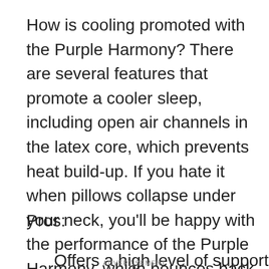How is cooling promoted with the Purple Harmony? There are several features that promote a cooler sleep, including open air channels in the latex core, which prevents heat build-up. If you hate it when pillows collapse under your neck, you'll be happy with the performance of the Purple Harmony, which bounces back after a weight has been applied. The only small customer complaint here was that the Purple Harmony isn't quite high enough for some sleepers' tastes. It's also pretty expensive.
Pros:
Offers a high level of support
ADVERTISEMENT